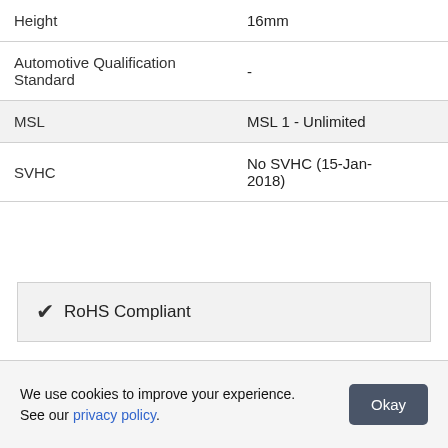| Property | Value |
| --- | --- |
| Height | 16mm |
| Automotive Qualification Standard | - |
| MSL | MSL 1 - Unlimited |
| SVHC | No SVHC (15-Jan-2018) |
✔ RoHS Compliant
We use cookies to improve your experience. See our privacy policy. Okay